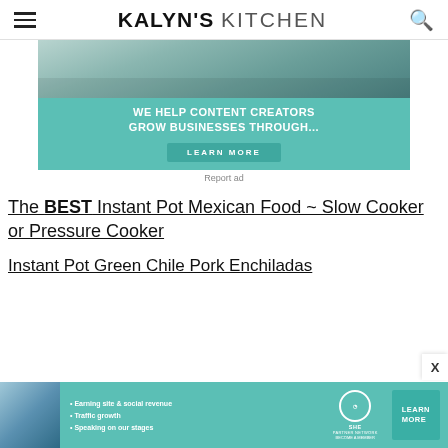KALYN'S KITCHEN
[Figure (screenshot): Advertisement banner: 'WE HELP CONTENT CREATORS GROW BUSINESSES THROUGH...' with a LEARN MORE button on a teal background, with a photo of a woman at a laptop above.]
Report ad
The BEST Instant Pot Mexican Food ~ Slow Cooker or Pressure Cooker
Instant Pot Green Chile Pork Enchiladas
[Figure (screenshot): Bottom advertisement for SHE Partner Network: Earning site & social revenue, Traffic growth, Speaking on our stages. LEARN MORE button.]